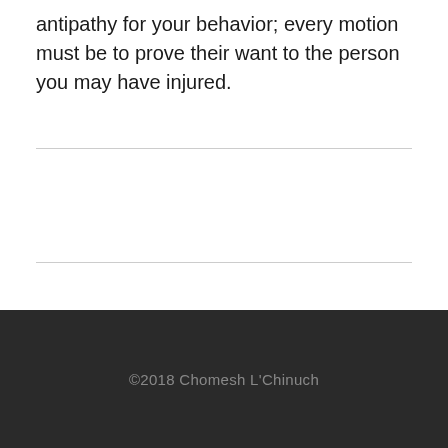antipathy for your behavior; every motion must be to prove their want to the person you may have injured.
©2018 Chomesh L'Chinuch